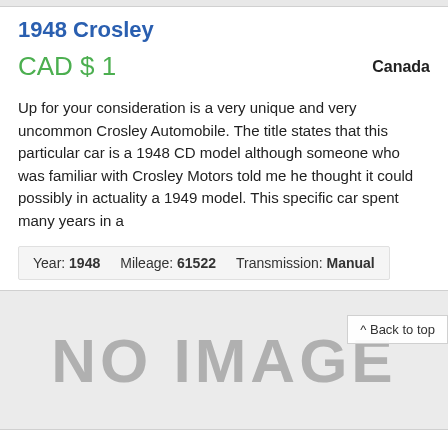1948 Crosley
CAD $ 1
Canada
Up for your consideration is a very unique and very uncommon Crosley Automobile. The title states that this particular car is a 1948 CD model although someone who was familiar with Crosley Motors told me he thought it could possibly in actuality a 1949 model. This specific car spent many years in a
Year: 1948   Mileage: 61522   Transmission: Manual
[Figure (other): NO IMAGE placeholder — large grey text on light grey background]